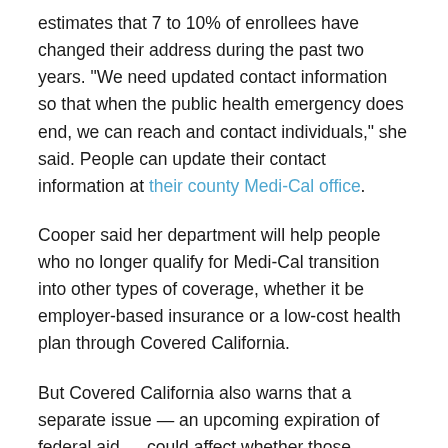estimates that 7 to 10% of enrollees have changed their address during the past two years. "We need updated contact information so that when the public health emergency does end, we can reach and contact individuals," she said. People can update their contact information at their county Medi-Cal office.
Cooper said her department will help people who no longer qualify for Medi-Cal transition into other types of coverage, whether it be employer-based insurance or a low-cost health plan through Covered California.
But Covered California also warns that a separate issue — an upcoming expiration of federal aid — could affect whether those formerly on Medi-Cal sign up or not.
Covered California and the federal